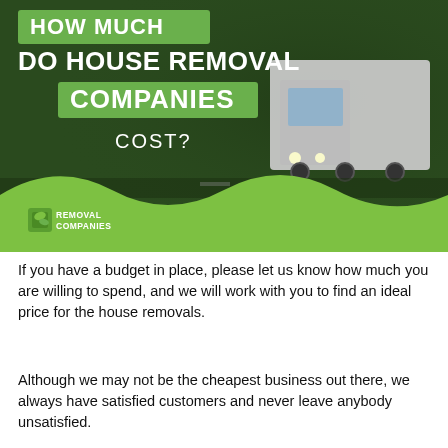[Figure (infographic): Infographic banner with dark green background showing a truck driving on a road. Large white bold text reads 'HOW MUCH DO HOUSE REMOVAL COMPANIES COST?' with green highlight bars behind 'HOW MUCH', 'DO HOUSE REMOVAL', and 'COMPANIES'. A wavy light green shape at the bottom contains the 'REMOVAL COMPANIES' logo with a green leaf/box icon.]
If you have a budget in place, please let us know how much you are willing to spend, and we will work with you to find an ideal price for the house removals.
Although we may not be the cheapest business out there, we always have satisfied customers and never leave anybody unsatisfied.